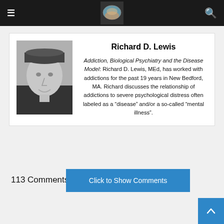Navigation bar with hamburger menu, site logo, and search icon
[Figure (photo): Black and white photo of an elderly man wearing a dark cap and dark shirt, smiling]
Richard D. Lewis
Addiction, Biological Psychiatry and the Disease Model: Richard D. Lewis, MEd, has worked with addictions for the past 19 years in New Bedford, MA. Richard discusses the relationship of addictions to severe psychological distress often labeled as a “disease” and/or a so-called “mental illness”.
113 Comments
Click to Show Comments